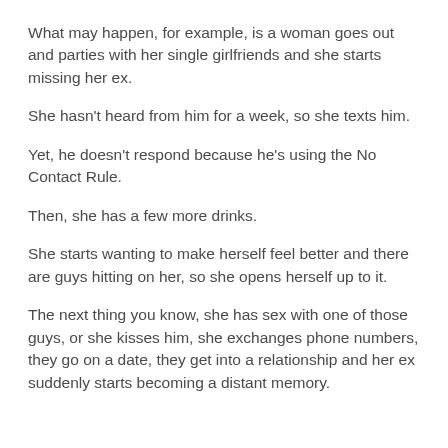What may happen, for example, is a woman goes out and parties with her single girlfriends and she starts missing her ex.
She hasn't heard from him for a week, so she texts him.
Yet, he doesn't respond because he's using the No Contact Rule.
Then, she has a few more drinks.
She starts wanting to make herself feel better and there are guys hitting on her, so she opens herself up to it.
The next thing you know, she has sex with one of those guys, or she kisses him, she exchanges phone numbers, they go on a date, they get into a relationship and her ex suddenly starts becoming a distant memory.